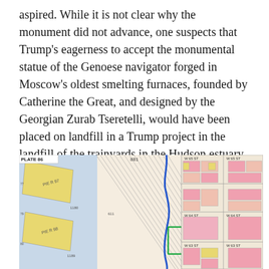aspired. While it is not clear why the monument did not advance, one suspects that Trump's eagerness to accept the monumental statue of the Genoese navigator forged in Moscow's oldest smelting furnaces, founded by Catherine the Great, and designed by the Georgian Zurab Tseretelli, would have been placed on landfill in a Trump project in the landfill of the trainyards in the Hudson estuary, unable to support the ponderous bronze assemblage weighing 660 tons–the ballpark figure Trump cited that oddly hovered near the number of the beast.
[Figure (map): Historical map plate 86 showing Manhattan's West Side rail yards near the Hudson River estuary. Features labeled piers (Pier 97, Pier 98, Pier 99), street grid with West 63rd, 64th, 65th streets visible on right. Buildings shown in yellow and pink. A blue winding line (likely the Hudson River or water feature) runs vertically through the center. A green outline marks a specific area. Diagonal rail yard lines dominate the center of the map.]